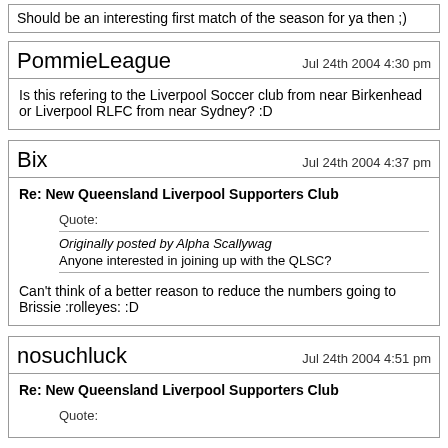Should be an interesting first match of the season for ya then ;)
PommieLeague — Jul 24th 2004 4:30 pm
Is this refering to the Liverpool Soccer club from near Birkenhead or Liverpool RLFC from near Sydney? :D
Bix — Jul 24th 2004 4:37 pm
Re: New Queensland Liverpool Supporters Club
Quote: Originally posted by Alpha Scallywag — Anyone interested in joining up with the QLSC?
Can't think of a better reason to reduce the numbers going to Brissie :rolleyes: :D
nosuchluck — Jul 24th 2004 4:51 pm
Re: New Queensland Liverpool Supporters Club
Quote: